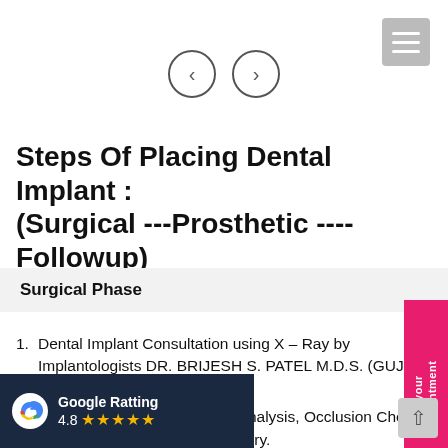[Figure (screenshot): Hamburger menu icon (three horizontal lines) in gray rounded square, top right corner]
[Figure (screenshot): Left and right navigation circle arrow buttons]
Steps Of Placing Dental Implant : (Surgical ---Prosthetic ----Followup)
Surgical Phase
Dental Implant Consultation using X – Ray by Implantologists DR. BRIJESH S. PATEL M.D.S. (GUJ UNI FIRST).
CBCT or Denta Scan, Model Analysis, Occlusion Check anning for Dental Implant surgery.
plants in a single sitting with Surgical
[Figure (other): Book your Appointment vertical pink tab on right side]
[Figure (other): Google Rating badge showing 4.8 stars on dark blue background, with Google G logo]